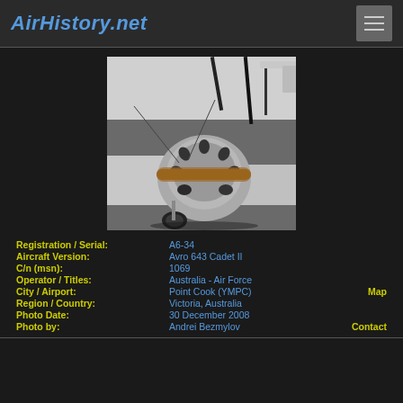AirHistory.net
[Figure (photo): Vintage biplane aircraft (Avro 643 Cadet II, registration A6-34) photographed from above in a hangar, showing radial engine, wooden propeller, and fabric-covered wings on a concrete floor.]
| Registration / Serial: | A6-34 |  |
| Aircraft Version: | Avro 643 Cadet II |  |
| C/n (msn): | 1069 |  |
| Operator / Titles: | Australia - Air Force |  |
| City / Airport: | Point Cook (YMPC) | Map |
| Region / Country: | Victoria, Australia |  |
| Photo Date: | 30 December 2008 |  |
| Photo by: | Andrei Bezmylov | Contact |